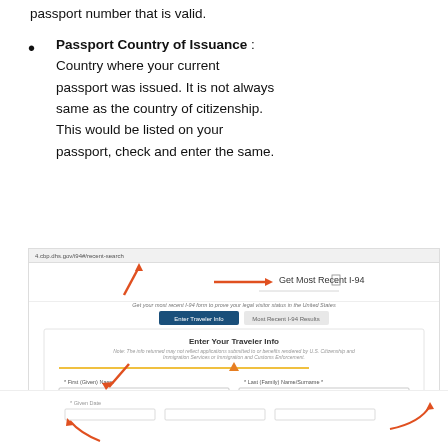passport number that is valid.
Passport Country of Issuance : Country where your current passport was issued. It is not always same as the country of citizenship. This would be listed on your passport, check and enter the same.
[Figure (screenshot): Screenshot of CBP I-94 website showing the 'Get Most Recent I-94' page with 'Enter Traveler Info' tab selected and a form with First (Given) Name and Last (Family) Name/Surname fields. Arrows annotate the URL bar and the form fields.]